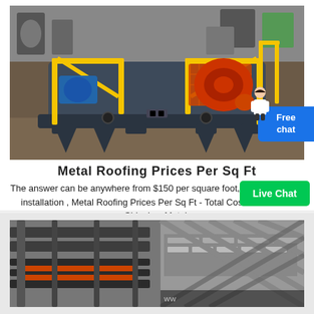[Figure (photo): Industrial heavy equipment / rock crusher machine with yellow safety guards and orange rotating drum, photographed in a warehouse/factory setting. Machine is grey with yellow metal cage guards.]
Metal Roofing Prices Per Sq Ft
The answer can be anywhere from $150 per square foot, plus the cost of installation , Metal Roofing Prices Per Sq Ft - Total Cost Installed vs Shingles; Metal.
[Figure (photo): Close-up photo of industrial metal machinery/equipment components, showing metal frames, orange rollers and mechanical parts.]